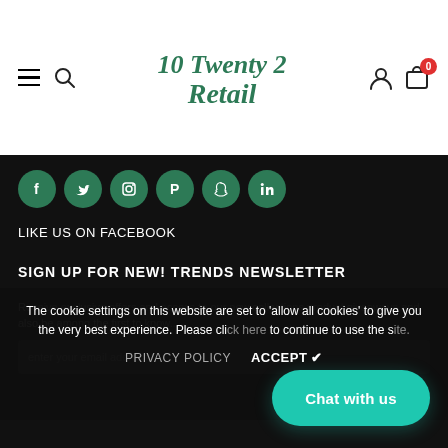[Figure (logo): 10 Twenty 2 Retail logo in green cursive script]
[Figure (illustration): Row of 6 green circular social media icons: Facebook, Twitter, Instagram, Pinterest, Snapchat, LinkedIn]
LIKE US ON FACEBOOK
SIGN UP FOR NEW! TRENDS NEWSLETTER
Receive exclusive offers and access to our new collections product giveaways and also be among the first to know...
enter your email address
The cookie settings on this website are set to 'allow all cookies' to give you the very best experience. Please cli... to continue to use the s...
PRIVACY POLICY   ACCEPT ✔
Chat with us